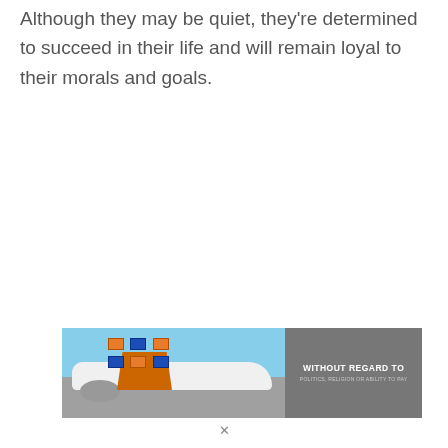Although they may be quiet, they're determined to succeed in their life and will remain loyal to their morals and goals.
[Figure (photo): Banner advertisement showing a Southwest Airlines cargo plane being loaded with freight on the tarmac, with text 'WITHOUT REGARD TO POLITICS, RELIGION OR ABILITY TO PAY' on a gray background to the right.]